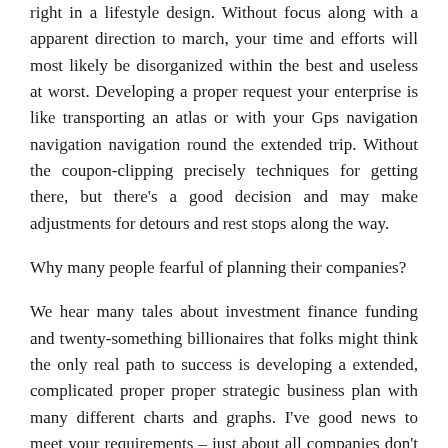right in a lifestyle design. Without focus along with a apparent direction to march, your time and efforts will most likely be disorganized within the best and useless at worst. Developing a proper request your enterprise is like transporting an atlas or with your Gps navigation navigation navigation round the extended trip. Without the coupon-clipping precisely techniques for getting there, but there’s a good decision and may make adjustments for detours and rest stops along the way.
Why many people fearful of planning their companies?
We hear many tales about investment finance funding and twenty-something billionaires that folks might think the only real path to success is developing a extended, complicated proper proper strategic business plan with many different charts and graphs. I’ve good news to meet your requirements – just about all companies don’t require this type of proper proper strategic business plan. An excellent proper proper strategic business plan can help you run your business and identify options and challenges with time to produce adjustments before time expires. In case you must review a 50-page proper proper strategic business plan regularly, you won’t